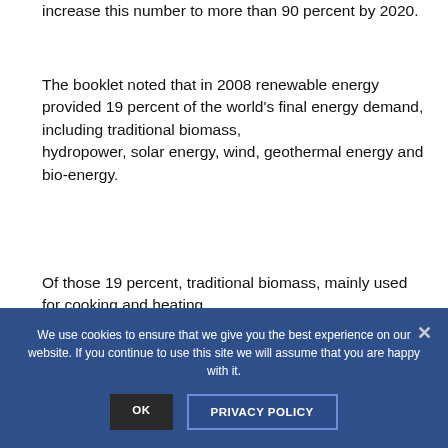increase this number to more than 90 percent by 2020.
The booklet noted that in 2008 renewable energy provided 19 percent of the world's final energy demand, including traditional biomass, hydropower, solar energy, wind, geothermal energy and bio-energy.
Of those 19 percent, traditional biomass, mainly used for cooking and heating,
We use cookies to ensure that we give you the best experience on our website. If you continue to use this site we will assume that you are happy with it.
OK
PRIVACY POLICY